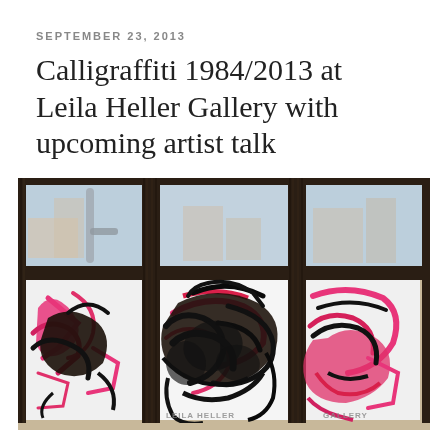SEPTEMBER 23, 2013
Calligraffiti 1984/2013 at Leila Heller Gallery with upcoming artist talk
[Figure (photo): Photograph of the exterior windows of Leila Heller Gallery, showing three large windows with dark brown/black frames. The windows are decorated with bold black Arabic-style calligrafi brush strokes and bright pink/red graffiti lettering. The gallery signage 'LEILA HELLER' and 'GALLERY' is visible at the bottom of the window panes. Buildings and sky are reflected in the upper portions of the windows.]